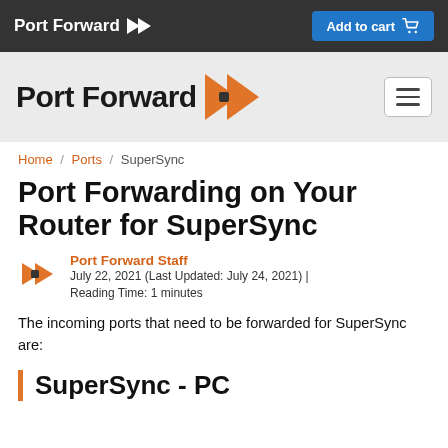Port Forward | Add to cart
[Figure (logo): Port Forward logo bar with hamburger menu]
Home / Ports / SuperSync
Port Forwarding on Your Router for SuperSync
Port Forward Staff
July 22, 2021 (Last Updated: July 24, 2021) | Reading Time: 1 minutes
The incoming ports that need to be forwarded for SuperSync are:
SuperSync - PC